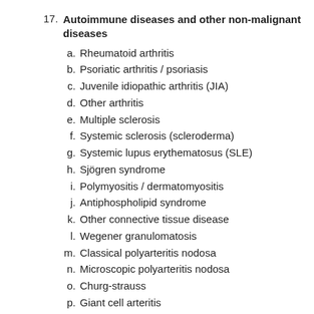17. Autoimmune diseases and other non-malignant diseases
a. Rheumatoid arthritis
b. Psoriatic arthritis / psoriasis
c. Juvenile idiopathic arthritis (JIA)
d. Other arthritis
e. Multiple sclerosis
f. Systemic sclerosis (scleroderma)
g. Systemic lupus erythematosus (SLE)
h. Sjögren syndrome
i. Polymyositis / dermatomyositis
j. Antiphospholipid syndrome
k. Other connective tissue disease
l. Wegener granulomatosis
m. Classical polyarteritis nodosa
n. Microscopic polyarteritis nodosa
o. Churg-strauss
p. Giant cell arteritis